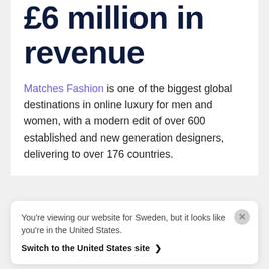£6 million in revenue
Matches Fashion is one of the biggest global destinations in online luxury for men and women, with a modern edit of over 600 established and new generation designers, delivering to over 176 countries.
You're viewing our website for Sweden, but it looks like you're in the United States. Switch to the United States site >